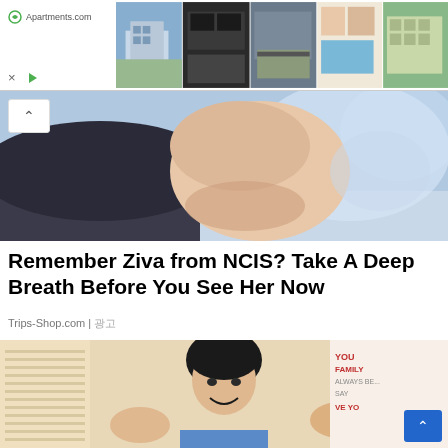[Figure (screenshot): Apartments.com advertisement banner with 5 property photos (building exterior, kitchen, living room, pool, apartment exterior) and ad controls (X close button, play button)]
[Figure (photo): Close-up photo of a person's neck and lower face wearing a dark jacket, blurred background. A scroll-up arrow button is visible in the top-left corner.]
Remember Ziva from NCIS? Take A Deep Breath Before You See Her Now
Trips-Shop.com | 광고
[Figure (photo): Young Asian man with black hair smiling and waving both hands, standing near a window with blinds. A decorative sign reading 'FAMILY YOU ALWAYS BE... SAY... VE YO...' is visible in the background. A blue scroll-up button is in the bottom-right corner.]